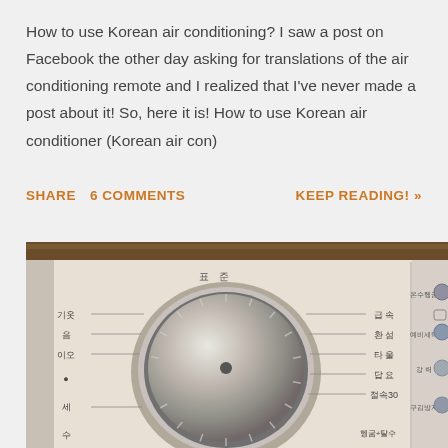How to use Korean air conditioning? I saw a post on Facebook the other day asking for translations of the air conditioning remote and I realized that I've never made a post about it! So, here it is! How to use Korean air conditioner (Korean air con)
SHARE   6 COMMENTS   KEEP READING! »
[Figure (photo): Photo of a Korean washing machine control panel with a metallic dial/knob in the center, Korean text labels for various settings around the dial, and buttons on the right side. Labels include 기옷, 표준, 급속, 환섬, 타울, 답요, 절속30, 온수헹굼, 예비세탁, 강력, 구김방지, 세, 수, 헹굼+탈수.]